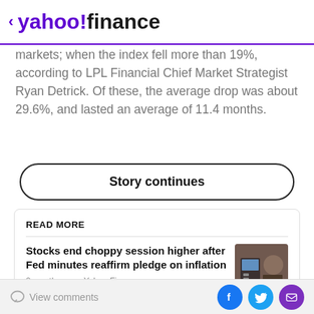< yahoo!finance
markets; when the index fell more than 19%, according to LPL Financial Chief Market Strategist Ryan Detrick. Of these, the average drop was about 29.6%, and lasted an average of 11.4 months.
Story continues
READ MORE
Stocks end choppy session higher after Fed minutes reaffirm pledge on inflation
2 months ago · Yahoo Finance
View comments